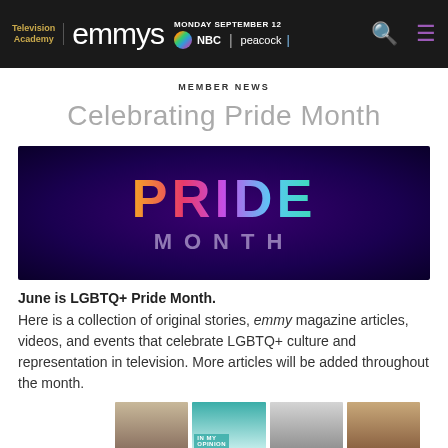Television Academy emmys | MONDAY SEPTEMBER 12 | NBC | peacock
MEMBER NEWS
Celebrating Pride Month
[Figure (illustration): Pride Month banner with rainbow gradient text 'PRIDE' on dark purple/blue background with 'MONTH' below in muted purple letters]
June is LGBTQ+ Pride Month.
Here is a collection of original stories, emmy magazine articles, videos, and events that celebrate LGBTQ+ culture and representation in television. More articles will be added throughout the month.
[Figure (photo): Strip of four portrait photos at the bottom of the page]